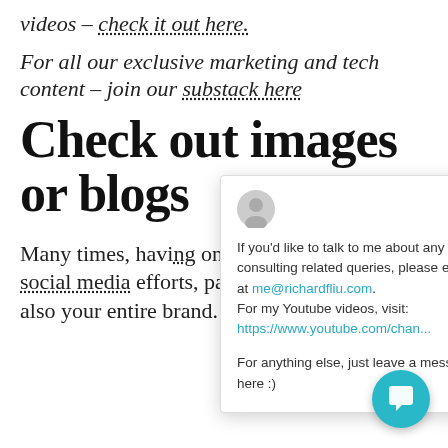videos – check it out here.
For all our exclusive marketing and tech content – join our substack here
Check out images or blogs
Many times, having only enhances your social media efforts, paid social, emails but also your entire brand.
[Figure (screenshot): Chat popup overlay with avatar icon, close button (×), text about consulting queries with email me@richardfliu.com, YouTube link https://www.youtube.com/chan..., and message invitation. Below is a teal circular chat bubble button.]